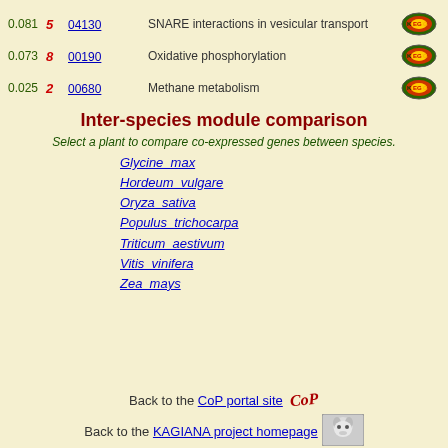| Score | Count | ID | Description | Image |
| --- | --- | --- | --- | --- |
| 0.081 | 5 | 04130 | SNARE interactions in vesicular transport | [KEGG badge] |
| 0.073 | 8 | 00190 | Oxidative phosphorylation | [KEGG badge] |
| 0.025 | 2 | 00680 | Methane metabolism | [KEGG badge] |
Inter-species module comparison
Select a plant to compare co-expressed genes between species.
Glycine max
Hordeum vulgare
Oryza sativa
Populus trichocarpa
Triticum aestivum
Vitis vinifera
Zea mays
Back to the CoP portal site
Back to the KAGIANA project homepage